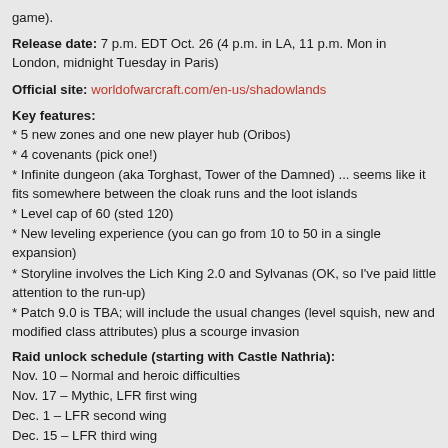game).
Release date: 7 p.m. EDT Oct. 26 (4 p.m. in LA, 11 p.m. Mon in London, midnight Tuesday in Paris)
Official site: worldofwarcraft.com/en-us/shadowlands
Key features:
* 5 new zones and one new player hub (Oribos)
* 4 covenants (pick one!)
* Infinite dungeon (aka Torghast, Tower of the Damned) ... seems like it fits somewhere between the cloak runs and the loot islands
* Level cap of 60 (sted 120)
* New leveling experience (you can go from 10 to 50 in a single expansion)
* Storyline involves the Lich King 2.0 and Sylvanas (OK, so I've paid little attention to the run-up)
* Patch 9.0 is TBA; will include the usual changes (level squish, new and modified class attributes) plus a scourge invasion
Raid unlock schedule (starting with Castle Nathria):
Nov. 10 – Normal and heroic difficulties
Nov. 17 – Mythic, LFR first wing
Dec. 1 – LFR second wing
Dec. 15 – LFR third wing
Jan. 5 – LFR fourth and final wing
Guild info: Everyone here has an open invite to join GWJ Alliance on Blackhand-A. (No, there's no corresponding Horde guild that appears active.)